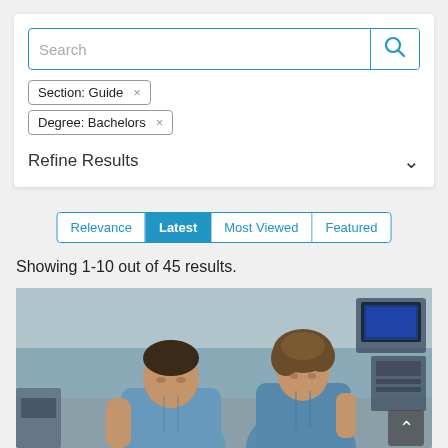Search
Section: Guide ×
Degree: Bachelors ×
Refine Results
Relevance | Latest | Most Viewed | Featured
Showing 1-10 out of 45 results.
[Figure (photo): Two medical professionals in scrubs in a clinical setting, a man and woman, with medical equipment visible in background]